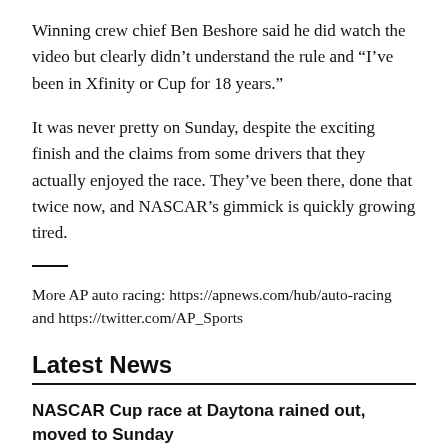Winning crew chief Ben Beshore said he did watch the video but clearly didn’t understand the rule and “I’ve been in Xfinity or Cup for 18 years.”
It was never pretty on Sunday, despite the exciting finish and the claims from some drivers that they actually enjoyed the race. They’ve been there, done that twice now, and NASCAR’s gimmick is quickly growing tired.
More AP auto racing: https://apnews.com/hub/auto-racing and https://twitter.com/AP_Sports
Latest News
NASCAR Cup race at Daytona rained out, moved to Sunday